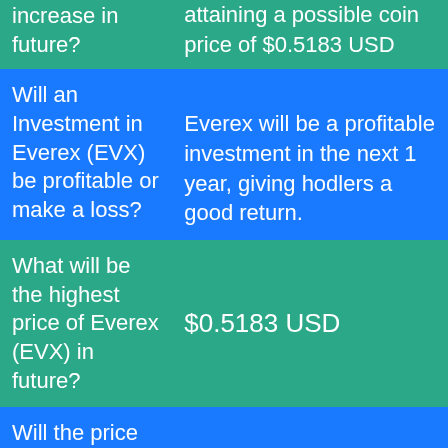| Question | Answer |
| --- | --- |
| increase in future? | attaining a possible coin price of $0.5183 USD |
| Will an Investment in Everex (EVX) be profitable or make a loss? | Everex will be a profitable investment in the next 1 year, giving hodlers a good return. |
| What will be the highest price of Everex (EVX) in future? | $0.5183 USD |
| Will the price of Everex (EVX) move downward in | Up only |